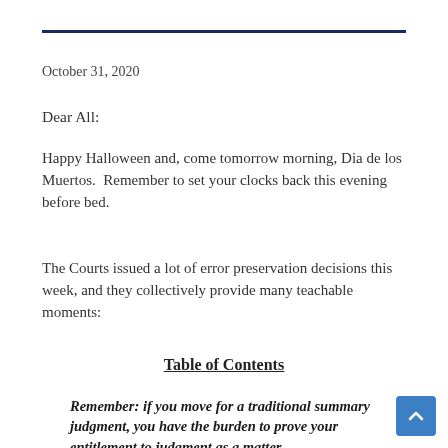October 31, 2020
Dear All:
Happy Halloween and, come tomorrow morning, Dia de los Muertos.  Remember to set your clocks back this evening before bed.
The Courts issued a lot of error preservation decisions this week, and they collectively provide many teachable moments:
Table of Contents
Remember: if you move for a traditional summary judgment, you have the burden to prove your entitlement to judgment as a matter